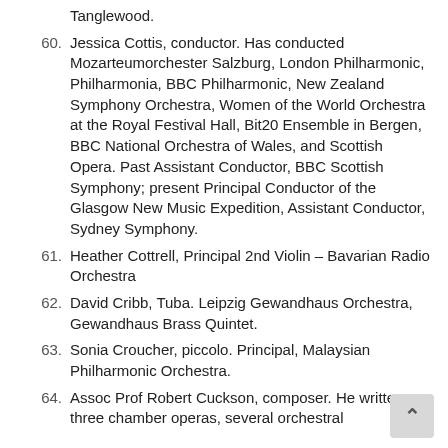Tanglewood.
60. Jessica Cottis, conductor. Has conducted Mozarteumorchester Salzburg, London Philharmonic, Philharmonia, BBC Philharmonic, New Zealand Symphony Orchestra, Women of the World Orchestra at the Royal Festival Hall, Bit20 Ensemble in Bergen, BBC National Orchestra of Wales, and Scottish Opera. Past Assistant Conductor, BBC Scottish Symphony; present Principal Conductor of the Glasgow New Music Expedition, Assistant Conductor, Sydney Symphony.
61. Heather Cottrell, Principal 2nd Violin – Bavarian Radio Orchestra
62. David Cribb, Tuba. Leipzig Gewandhaus Orchestra, Gewandhaus Brass Quintet.
63. Sonia Croucher, piccolo. Principal, Malaysian Philharmonic Orchestra.
64. Assoc Prof Robert Cuckson, composer. He written three chamber operas, several orchestral